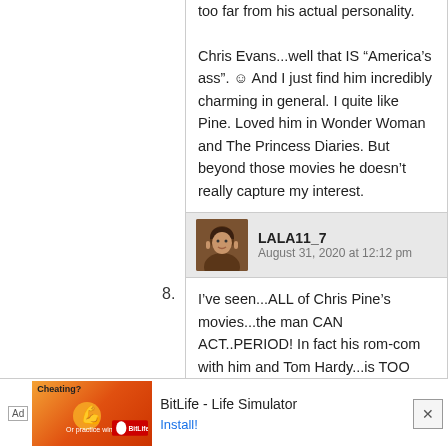too far from his actual personality.

Chris Evans...well that IS “America’s ass”. 🙂 And I just find him incredibly charming in general. I quite like Pine. Loved him in Wonder Woman and The Princess Diaries. But beyond those movies he doesn’t really capture my interest.
8.
LALA11_7
August 31, 2020 at 12:12 pm
I’ve seen...ALL of Chris Pine’s movies...the man CAN ACT..PERIOD! In fact his rom-com with him and Tom Hardy...is TOO MUCH OF 2 GOOD THANGS😂

Chris H. is my second Chris...and the way his acting evolved from his first
Ad  BitLife - Life Simulator  Install!